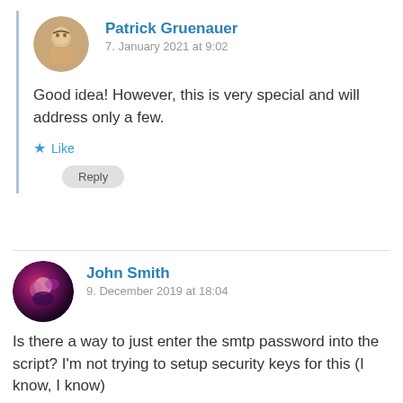Patrick Gruenauer
7. January 2021 at 9:02
Good idea! However, this is very special and will address only a few.
Like
Reply
John Smith
9. December 2019 at 18:04
Is there a way to just enter the smtp password into the script? I'm not trying to setup security keys for this (I know, I know)
Like